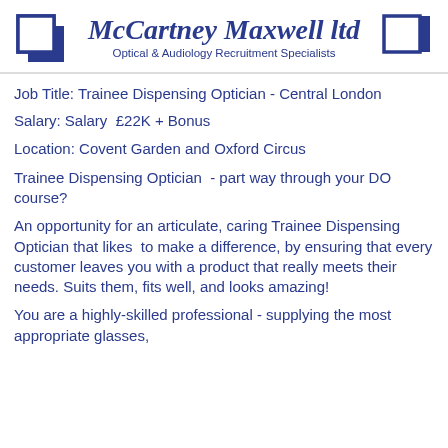[Figure (logo): McCartney Maxwell ltd logo with two overlapping blue squares on left and right, company name in italic serif font, tagline 'Optical & Audiology Recruitment Specialists']
Job Title: Trainee Dispensing Optician - Central London
Salary: Salary  £22K + Bonus
Location: Covent Garden and Oxford Circus
Trainee Dispensing Optician  - part way through your DO course?
An opportunity for an articulate, caring Trainee Dispensing Optician that likes  to make a difference, by ensuring that every customer leaves you with a product that really meets their needs. Suits them, fits well, and looks amazing!
You are a highly-skilled professional - supplying the most appropriate glasses,